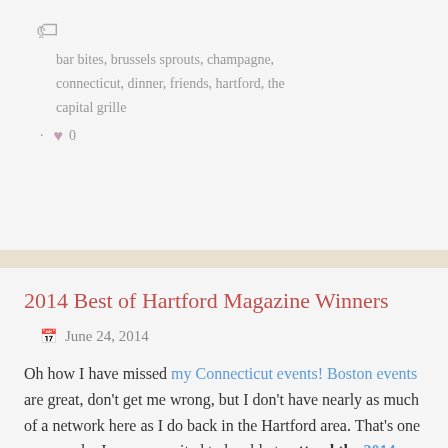bar bites, brussels sprouts, champagne, connecticut, dinner, friends, hartford, the capital grille
❤ 0
2014 Best of Hartford Magazine Winners
June 24, 2014
Oh how I have missed my Connecticut events! Boston events are great, don't get me wrong, but I don't have nearly as much of a network here as I do back in the Hartford area. That's one reason why I was so excited to be able to attend the 2014 Best of Hartford Magazine Winners Party this past Friday! As first runner-up for both Best